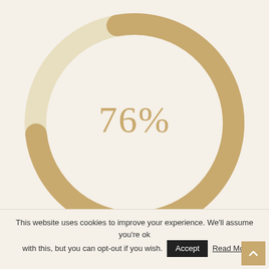[Figure (donut-chart): 76%]
This website uses cookies to improve your experience. We'll assume you're ok with this, but you can opt-out if you wish. Accept Read More